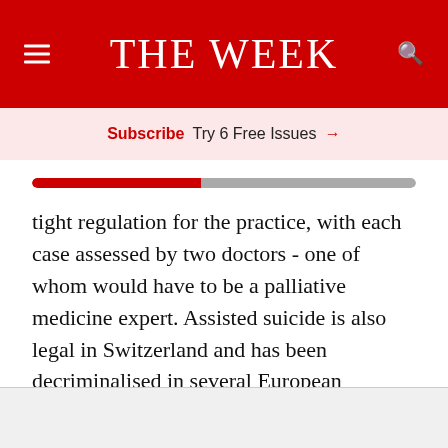THE WEEK
Subscribe  Try 6 Free Issues  →
tight regulation for the practice, with each case assessed by two doctors - one of whom would have to be a palliative medicine expert. Assisted suicide is also legal in Switzerland and has been decriminalised in several European countries, including Spain, Belgium and the Netherlands.